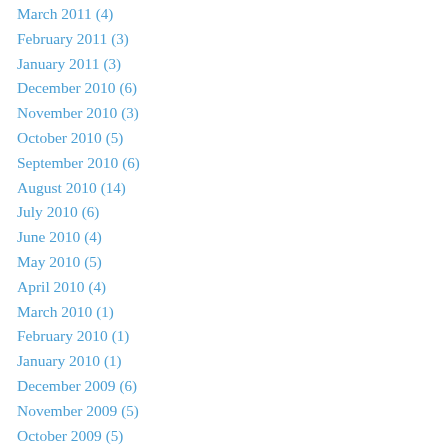March 2011 (4)
February 2011 (3)
January 2011 (3)
December 2010 (6)
November 2010 (3)
October 2010 (5)
September 2010 (6)
August 2010 (14)
July 2010 (6)
June 2010 (4)
May 2010 (5)
April 2010 (4)
March 2010 (1)
February 2010 (1)
January 2010 (1)
December 2009 (6)
November 2009 (5)
October 2009 (5)
September 2009 (3)
August 2009 (3)